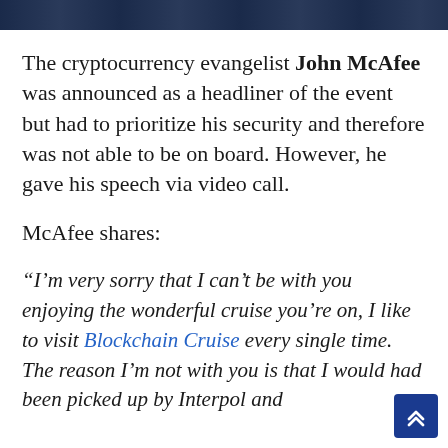[Figure (photo): Partial image strip at top of page showing a dark blue scene, appears to be a cruise or event setting]
The cryptocurrency evangelist John McAfee was announced as a headliner of the event but had to prioritize his security and therefore was not able to be on board. However, he gave his speech via video call.
McAfee shares:
“I’m very sorry that I can’t be with you enjoying the wonderful cruise you’re on, I like to visit Blockchain Cruise every single time. The reason I’m not with you is that I would had been picked up by Interpol and